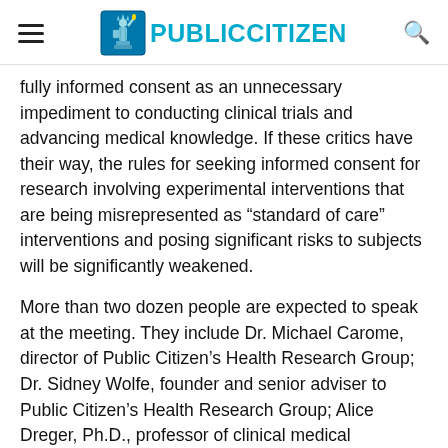PUBLIC CITIZEN (logo with hamburger menu and search icon)
fully informed consent as an unnecessary impediment to conducting clinical trials and advancing medical knowledge. If these critics have their way, the rules for seeking informed consent for research involving experimental interventions that are being misrepresented as “standard of care” interventions and posing significant risks to subjects will be significantly weakened.
More than two dozen people are expected to speak at the meeting. They include Dr. Michael Carome, director of Public Citizen’s Health Research Group; Dr. Sidney Wolfe, founder and senior adviser to Public Citizen’s Health Research Group; Alice Dreger, Ph.D., professor of clinical medical humanities and bioethics at the Feinberg School of Medicine at Northwestern University; and George J. Annas, JD,